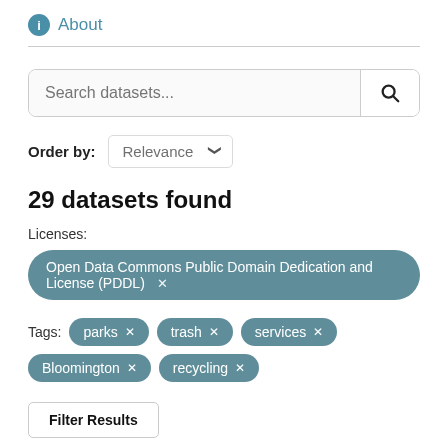About
Search datasets...
Order by: Relevance
29 datasets found
Licenses:
Open Data Commons Public Domain Dedication and License (PDDL) ×
Tags: parks × trash × services ×
Bloomington × recycling ×
Filter Results